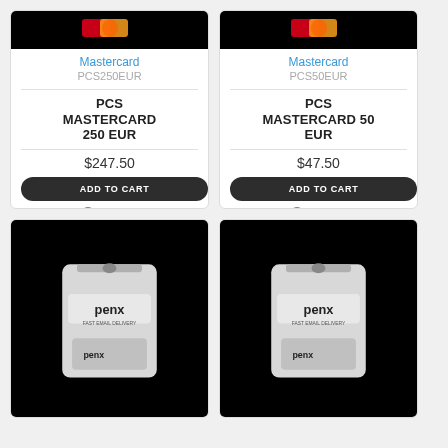[Figure (photo): PCS Mastercard 250 EUR product image on black background]
Mastercard
PCS250EUR
PCS MASTERCARD 250 EUR
$247.50
ADD TO CART
Buy Now
[Figure (photo): PCS Mastercard 50 EUR product image on black background]
Mastercard
PCS50EUR
PCS MASTERCARD 50 EUR
$47.50
ADD TO CART
Buy Now
[Figure (photo): Pengo gift card product image on black background]
[Figure (photo): Pengo gift card product image on black background]